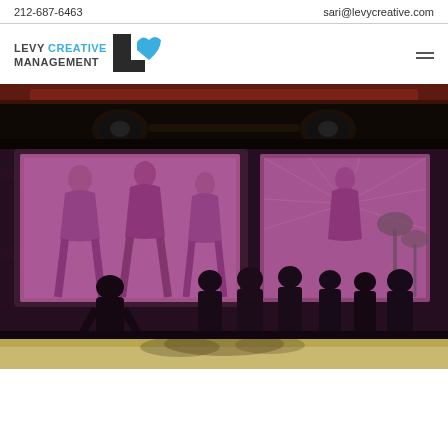212-687-6463    sari@levycreative.com
[Figure (logo): Levy Creative Management logo with LV icon]
[Figure (photo): Dark image showing undercarriage of a red car]
[Figure (illustration): Illustrated scene with silhouettes of people looking at illuminated pink windows showing cartoon female figures, nightclub exterior with brick wall]
[Figure (photo): Partial image at bottom, warm golden/tan tones, outdoor scene]